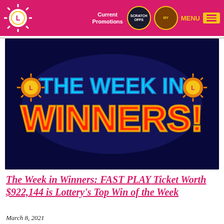Current Promotions | SCRATCH OFFS | My Rewards | MENU
[Figure (illustration): The Week in Winners promotional banner image with neon-style text on dark blue background. Text reads 'THE WEEK IN WINNERS!' with lottery sun logos on either side.]
The Week in Winners: FAST PLAY Ticket Worth $922,144 is Lottery's Top Win of the Week
March 8, 2021